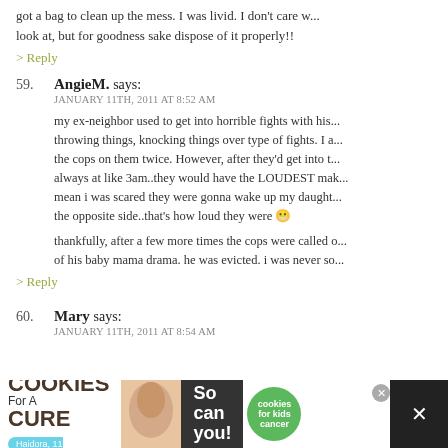got a bag to clean up the mess. I was livid. I don't care w... look at, but for goodness sake dispose of it properly!!
> Reply
59. AngieM. says: JANUARY 11TH, 2011 AT 8:52 AM
my ex-neighbor used to get into horrible fights with his... throwing things, knocking things over type of fights. I a... the cops on them twice. However, after they'd get into t... always at like 3am..they would have the LOUDEST mak... mean i was scared they were gonna wake up my daught... the opposite side..that's how loud they were
thankfully, after a few more times the cops were called o... of his baby mama drama. he was evicted. i was never so...
> Reply
60. Mary says: JANUARY 11TH, 2011 AT 8:54 AM
[Figure (screenshot): Advertisement banner: I Bake COOKIES For A CURE with Haidora, 11 Cancer Survivor branding, green cookies circle logo, So can you! text, with close button]